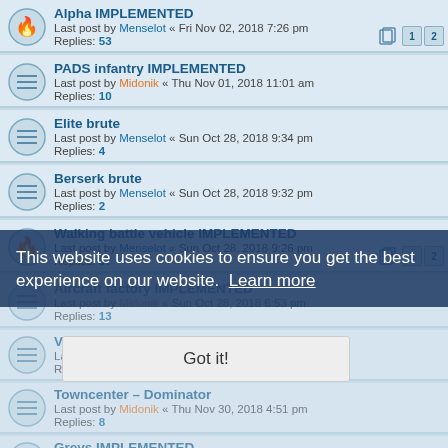Alpha IMPLEMENTED — Last post by Menselot « Fri Nov 02, 2018 7:26 pm — Replies: 53
PADS infantry IMPLEMENTED — Last post by Midonik « Thu Nov 01, 2018 11:01 am — Replies: 10
Elite brute — Last post by Menselot « Sun Oct 28, 2018 9:34 pm — Replies: 4
Berserk brute — Last post by Menselot « Sun Oct 28, 2018 9:32 pm — Replies: 2
Walking battle vehicle IMPLEMENTED — Last post by Menselot « Sun Oct 28, 2018 9:26 pm — Replies: 37
Aircraft factory IMPLEMENTED — Last post by Midonik « Sun Oct 28, 2018 6:53 pm — Replies: 13
Vehicles factory IMPLEMENTED — Last post by Menselot « ... — Replies: 2
Towncenter – Dominator — Last post by Midonik « Thu Nov 30, 2018 4:51 pm — Replies: 8
Greys IMPLEMENTED — Last post by Ayush Tiwari « Thu May 31, 2018 2:10 am — Replies: 15
This website uses cookies to ensure you get the best experience on our website. Learn more
Got it!